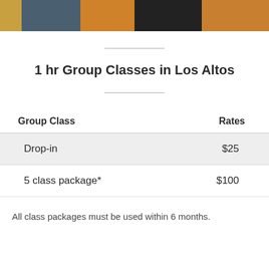[Figure (photo): Decorative photo strip with colorful vertical bands in gold, teal, orange, black, and amber tones]
1 hr Group Classes in Los Altos
| Group Class | Rates |
| --- | --- |
| Drop-in | $25 |
| 5 class package* | $100 |
All class packages must be used within 6 months.